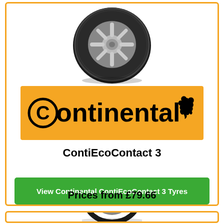[Figure (photo): Black car tyre with alloy wheel, viewed from front-top angle]
[Figure (logo): Continental brand logo on orange/amber background with horse silhouette]
ContiEcoContact 3
View Continental ContiEcoContact 3 Tyres
Prices from £79.66
[Figure (photo): Black car tyre viewed from slight angle, partial view at bottom of page]